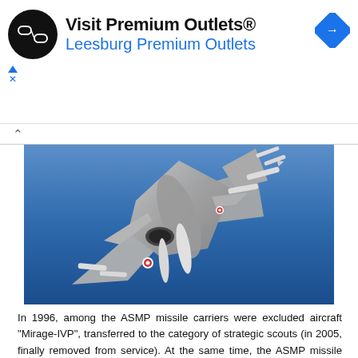[Figure (other): Advertisement banner for Visit Premium Outlets® / Leesburg Premium Outlets with black circle logo and blue diamond navigation icon]
[Figure (photo): Aerial photograph of a French Rafale fighter jet loaded with missiles and weapons, viewed from below against a blue sky background]
In 1996, among the ASMP missile carriers were excluded aircraft "Mirage-IVP", transferred to the category of strategic scouts (in 2005, finally removed from service). At the same time, the ASMP missile should receive the latest supersonic multi-purpose aircraft "Rafale-B / C" (double / single attack option for the Air Force) and "Rafale-M" (single deck attack